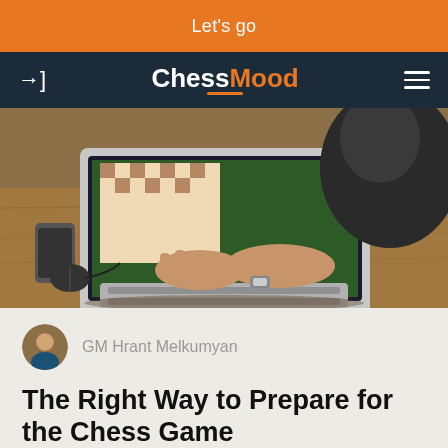Let's go
[Figure (logo): ChessMood navigation bar with login icon and hamburger menu on dark navy background]
[Figure (photo): Person typing on a laptop with a chess game visible on screen, on a wooden desk with a mouse and phone nearby]
GM Hrant Melkumyan
The Right Way to Prepare for the Chess Game
How to prepare against your opponent before the game?